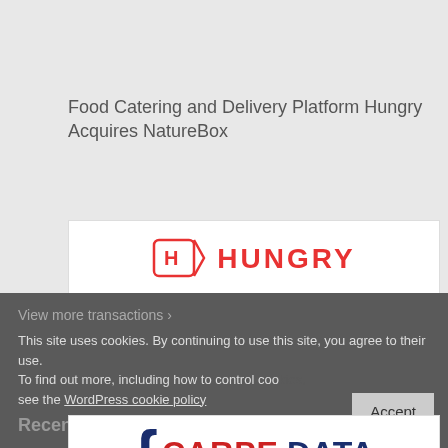Food Catering and Delivery Platform Hungry Acquires NatureBox
[Figure (logo): HUNGRY logo — red tag icon with letter H followed by HUNGRY text in red]
Carpe Data Receives Strategic Growth Investment From Thomas H. Lee Partners
[Figure (logo): Carpe Data logo — dark blue curly brace, CARPE in red, DATA in dark blue]
View more transactions ›
This site uses cookies. By continuing to use this site, you agree to their use. To find out more, including how to control cookies, see the WordPress cookie policy
Recent posts